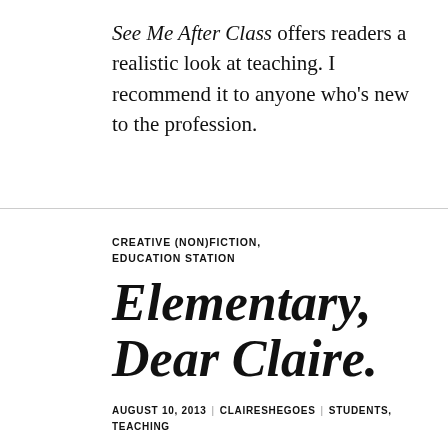See Me After Class offers readers a realistic look at teaching. I recommend it to anyone who's new to the profession.
CREATIVE (NON)FICTION, EDUCATION STATION
Elementary, Dear Claire.
AUGUST 10, 2013 | CLAIRESHEGOES | STUDENTS, TEACHING
School's out